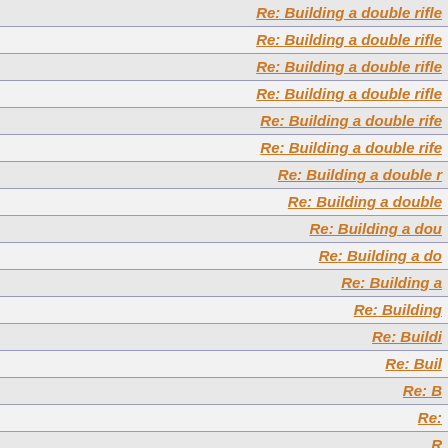| Re: Building a double rifle |
| Re: Building a double rifle |
| Re: Building a double rifle |
| Re: Building a double rifle |
| Re: Building a double rifle |
| Re: Building a double rifle |
| Re: Building a double r |
| Re: Building a double |
| Re: Building a dou |
| Re: Building a do |
| Re: Building a |
| Re: Building |
| Re: Buildi |
| Re: Buil |
| Re: B |
| Re: |
| R |